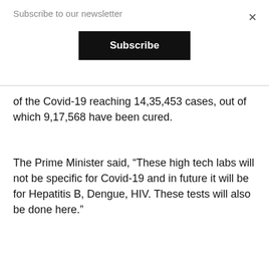Subscribe to our newsletter
Subscribe
of the Covid-19 reaching 14,35,453 cases, out of which 9,17,568 have been cured.
The Prime Minister said, “These high tech labs will not be specific for Covid-19 and in future it will be for Hepatitis B, Dengue, HIV. These tests will also be done here.”